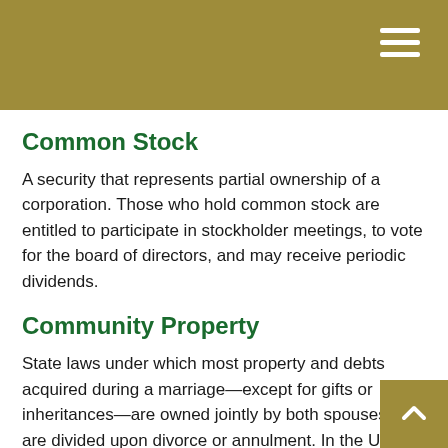Common Stock
A security that represents partial ownership of a corporation. Those who hold common stock are entitled to participate in stockholder meetings, to vote for the board of directors, and may receive periodic dividends.
Community Property
State laws under which most property and debts acquired during a marriage—except for gifts or inheritances—are owned jointly by both spouses and are divided upon divorce or annulment. In the United States, nine states have community property laws: Arizona, California, Idaho, Louisiana, Nevada, New Mexico, Texas, Washington, and Wisconsin.